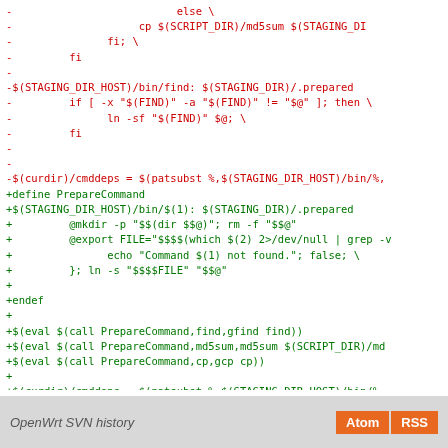Code diff showing removed lines (red, prefixed with -) and added lines (green, prefixed with +) in a Makefile for OpenWrt build system staging directory commands.
OpenWrt SVN history  Atom  RSS